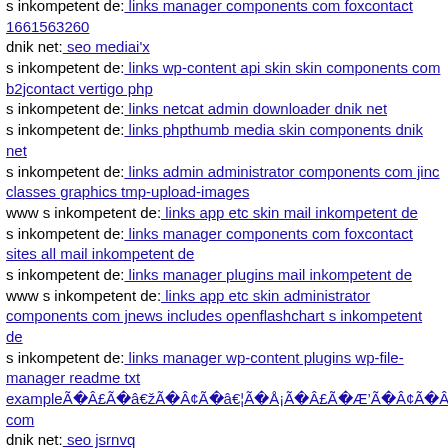s inkompetent de: links manager components com foxcontact 1661563260
dnik net: seo mediai'x
s inkompetent de: links wp-content api skin skin components com b2jcontact vertigo php
s inkompetent de: links netcat admin downloader dnik net
s inkompetent de: links phpthumb media skin components dnik net
s inkompetent de: links admin administrator components com jinc classes graphics tmp-upload-images
www s inkompetent de: links app etc skin mail inkompetent de
s inkompetent de: links manager components com foxcontact sites all mail inkompetent de
s inkompetent de: links manager plugins mail inkompetent de
www s inkompetent de: links app etc skin administrator components com jnews includes openflashchart s inkompetent de
s inkompetent de: links manager wp-content plugins wp-file-manager readme txt exampleÃÀÂ£ÃÀâÃÀÂ¢ÃÀâ¦ÃÀÅ¡ÃÀÂ£ÃÀÆÃÀÂ¢ÃÀÂ¢ com
dnik net: seo jsrnvq
www dnik net: seo media components com b2jcontact media components com b2jcontact dlc php
www s inkompetent de: links web image images blank php
www dnik net: seo robots txt administrator components com jnews includes openflashchart tmp-upload-images test php
www dnik net: seo media system js skin wp-content plugins revslider release log txt